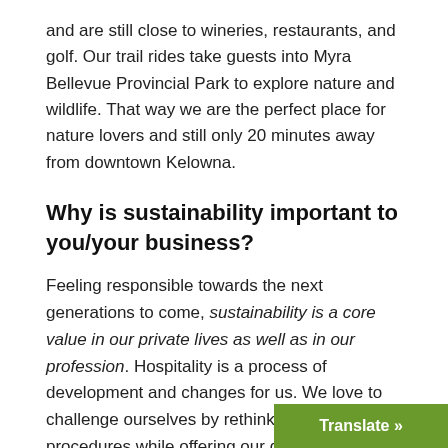and are still close to wineries, restaurants, and golf. Our trail rides take guests into Myra Bellevue Provincial Park to explore nature and wildlife. That way we are the perfect place for nature lovers and still only 20 minutes away from downtown Kelowna.
Why is sustainability important to you/your business?
Feeling responsible towards the next generations to come, sustainability is a core value in our private lives as well as in our profession. Hospitality is a process of development and changes for us. We love to challenge ourselves by rethinking daily procedures while offering our guests the chance to experience small and easy steps toward more sustainable tourism.